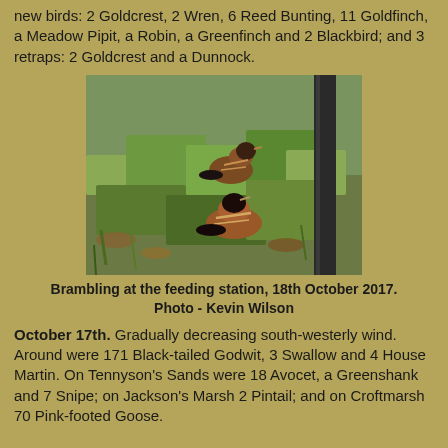new birds: 2 Goldcrest, 2 Wren, 6 Reed Bunting, 11 Goldfinch, a Meadow Pipit, a Robin, a Greenfinch and 2 Blackbird; and 3 retraps: 2 Goldcrest and a Dunnock.
[Figure (photo): Two Brambling birds on grass near a dark post at the feeding station, photographed on 18th October 2017.]
Brambling at the feeding station, 18th October 2017. Photo - Kevin Wilson
October 17th. Gradually decreasing south-westerly wind. Around were 171 Black-tailed Godwit, 3 Swallow and 4 House Martin. On Tennyson's Sands were 18 Avocet, a Greenshank and 7 Snipe; on Jackson's Marsh 2 Pintail; and on Croftmarsh 70 Pink-footed Goose.